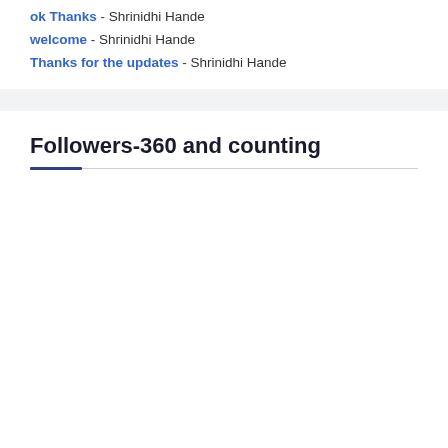ok Thanks - Shrinidhi Hande
welcome - Shrinidhi Hande
Thanks for the updates - Shrinidhi Hande
Followers-360 and counting